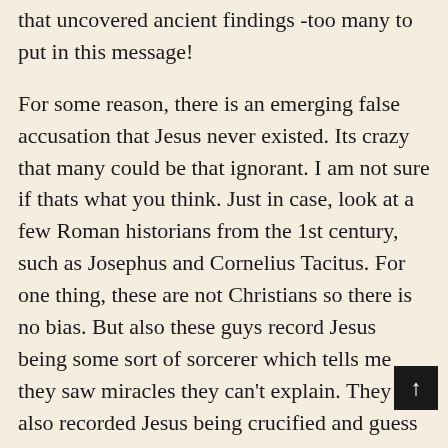that uncovered ancient findings -too many to put in this message!
For some reason, there is an emerging false accusation that Jesus never existed. Its crazy that many could be that ignorant. I am not sure if thats what you think. Just in case, look at a few Roman historians from the 1st century, such as Josephus and Cornelius Tacitus. For one thing, these are not Christians so there is no bias. But also these guys record Jesus being some sort of sorcerer which tells me they saw miracles they can't explain. They also recorded Jesus being crucified and guess what else? The tomb was empty! They make the assertion (with no facts) that disciples must have stolen the body. In the Bible many witnesses s… Christ after he was resurrected. So, in history… know Jesus walked on this earth, he was crucified